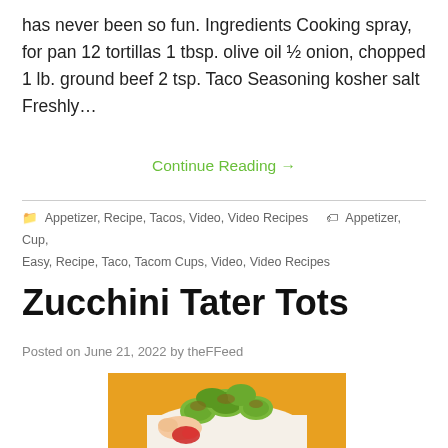has never been so fun. Ingredients Cooking spray, for pan 12 tortillas 1 tbsp. olive oil ½ onion, chopped 1 lb. ground beef 2 tsp. Taco Seasoning kosher salt Freshly…
Continue Reading →
Appetizer, Recipe, Tacos, Video, Video Recipes   Appetizer, Cup, Easy, Recipe, Taco, Tacom Cups, Video, Video Recipes
Zucchini Tater Tots
Posted on June 21, 2022 by theFFeed
[Figure (photo): Photo of zucchini tater tots being dipped in sauce, on an orange background]